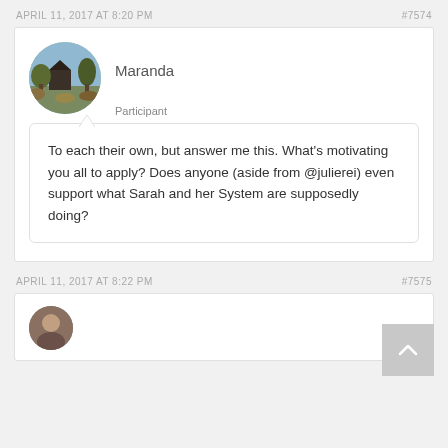APRIL 11, 2017 AT 8:20 PM   #7574
Maranda
Participant
To each their own, but answer me this. What's motivating you all to apply? Does anyone (aside from @julierei) even support what Sarah and her System are supposedly doing?
APRIL 11, 2017 AT 8:22 PM   #7575